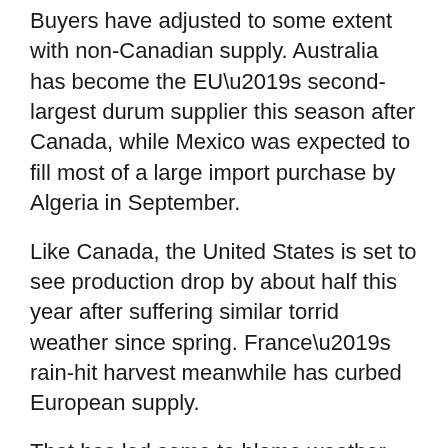Buyers have adjusted to some extent with non-Canadian supply. Australia has become the EU's second-largest durum supplier this season after Canada, while Mexico was expected to fill most of a large import purchase by Algeria in September.
Like Canada, the United States is set to see production drop by about half this year after suffering similar torrid weather since spring. France's rain-hit harvest meanwhile has curbed European supply.
That has led some to blame weather shifts for upsetting a balance of moderately warm and dry growing conditions suited to producing the hard, high-protein wheat variety.
“The increase in the price of durum wheat is a symptom of climate change,” said Alberto Cartasegna, chief executive of Miscusi, which has a dozen restaurants in Italy.